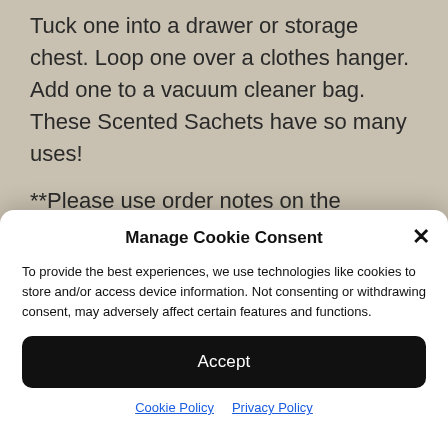Tuck one into a drawer or storage chest. Loop one over a clothes hanger. Add one to a vacuum cleaner bag. These Scented Sachets have so many uses!
**Please use order notes on the checkout page to write a message to go with your gift
Manage Cookie Consent
To provide the best experiences, we use technologies like cookies to store and/or access device information. Not consenting or withdrawing consent, may adversely affect certain features and functions.
Accept
Cookie Policy  Privacy Policy